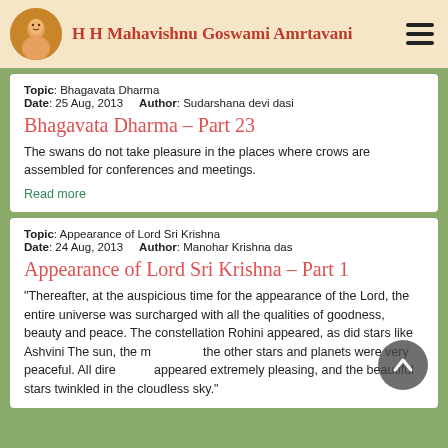H H Mahavishnu Goswami Amrtavani
Topic: Bhagavata Dharma
Date: 25 Aug, 2013   Author: Sudarshana devi dasi
Bhagavata Dharma - Part 23
The swans do not take pleasure in the places where crows are assembled for conferences and meetings.
Read more
Topic: Appearance of Lord Sri Krishna
Date: 24 Aug, 2013   Author: Manohar Krishna das
Appearance of Lord Sri Krishna - Part 1
"Thereafter, at the auspicious time for the appearance of the Lord, the entire universe was surcharged with all the qualities of goodness, beauty and peace. The constellation Rohini appeared, as did stars like Ashvini The sun, the m... the other stars and planets were very peaceful. All dire... appeared extremely pleasing, and the beautiful stars twinkled in the cloudless sky."